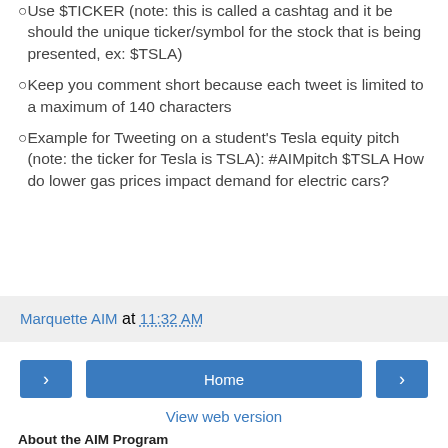Use $TICKER (note: this is called a cashtag and it be should the unique ticker/symbol for the stock that is being presented, ex: $TSLA)
Keep you comment short because each tweet is limited to a maximum of 140 characters
Example for Tweeting on a student's Tesla equity pitch (note: the ticker for Tesla is TSLA): #AIMpitch $TSLA How do lower gas prices impact demand for electric cars?
Marquette AIM at 11:32 AM
Home
View web version
About the AIM Program